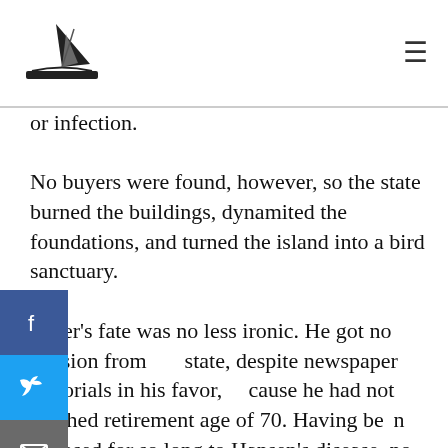[Logo] [Hamburger menu]
or infection.
No buyers were found, however, so the state burned the buildings, dynamited the foundations, and turned the island into a bird sanctuary.
ker's fate was no less ironic. He got no pension from state, despite newspaper editorials in his favor, cause he had not reached retirement age of 70. Having en exposed for so long to Hansen's disease, no work uld be found for him in another state institution, and no patients would come to him in private practice. In October 1921 Dr. Parker and his wife moved to Hamilton, Montana, where their son, Ralph, was doing research on Rocky Mountain spotted fever. Dr. Frank Parker died in Montana in January 1926, while helping to fight an epidemic of whooping cough. He was cremated and his ashes sent